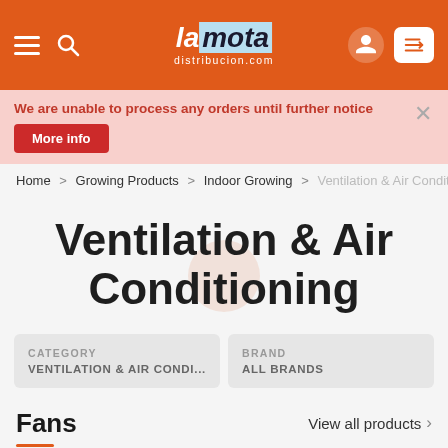La Mota distribucion.com - navigation header with hamburger menu, search, logo, user icon, and edit icon
We are unable to process any orders until further notice
More info
Home > Growing Products > Indoor Growing > Ventilation & Air Conditioning
Ventilation & Air Conditioning
CATEGORY: VENTILATION & AIR CONDI...
BRAND: ALL BRANDS
Fans
View all products >